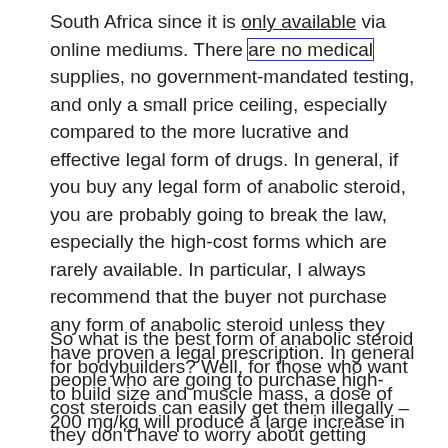South Africa since it is only available via online mediums. There are no medical supplies, no government-mandated testing, and only a small price ceiling, especially compared to the more lucrative and effective legal form of drugs. In general, if you buy any legal form of anabolic steroid, you are probably going to break the law, especially the high-cost forms which are rarely available. In particular, I always recommend that the buyer not purchase any form of anabolic steroid unless they have proven a legal prescription. In general people who are going to purchase high-cost steroids can easily get them illegally – they don't have to worry about getting busted.
So what is the best form of anabolic steroid for bodybuilders? Well, for those who want to build size and muscle mass, a dose of 200 mg/kg will produce a large increase in